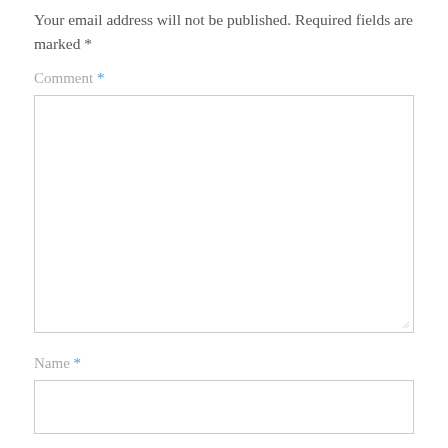Your email address will not be published. Required fields are marked *
Comment *
[Figure (other): Large empty text area input box for comment]
Name *
[Figure (other): Single-line text input box for name]